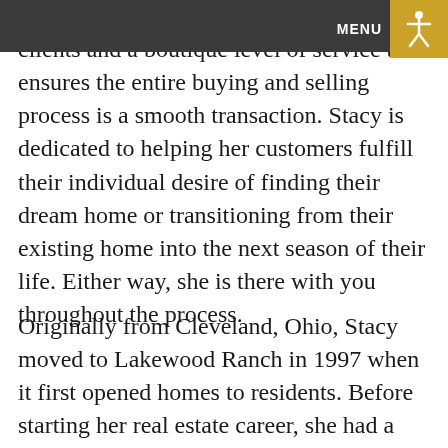facilitates long lasting relationships with clients and a boutique level of service that ensures the entire buying and selling process is a smooth transaction. Stacy is dedicated to helping her customers fulfill their individual desire of finding their dream home or transitioning from their existing home into the next season of their life. Either way, she is there with you throughout the process.
Originally from Cleveland, Ohio, Stacy moved to Lakewood Ranch in 1997 when it first opened homes to residents. Before starting her real estate career, she had a thriving interior design business for more than 14 years